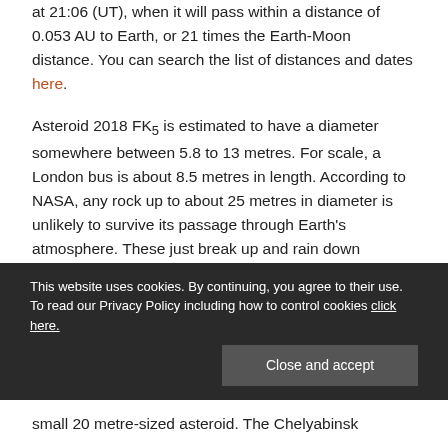at 21:06 (UT), when it will pass within a distance of 0.053 AU to Earth, or 21 times the Earth-Moon distance. You can search the list of distances and dates here.
Asteroid 2018 FK5 is estimated to have a diameter somewhere between 5.8 to 13 metres. For scale, a London bus is about 8.5 metres in length. According to NASA, any rock up to about 25 metres in diameter is unlikely to survive its passage through Earth's atmosphere. These just break up and rain down harmlessly as small meteorites and micro-meteoroid dust.
This website uses cookies. By continuing, you agree to their use. To read our Privacy Policy including how to control cookies click here.
small 20 metre-sized asteroid. The Chelyabinsk